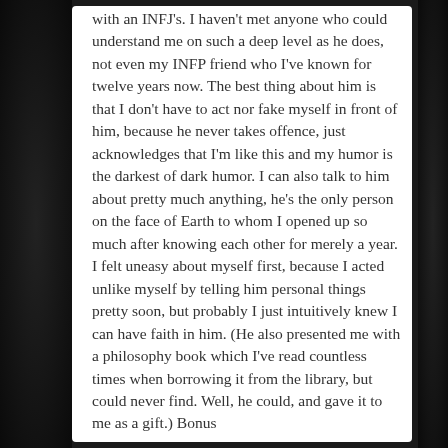with an INFJ's. I haven't met anyone who could understand me on such a deep level as he does, not even my INFP friend who I've known for twelve years now. The best thing about him is that I don't have to act nor fake myself in front of him, because he never takes offence, just acknowledges that I'm like this and my humor is the darkest of dark humor. I can also talk to him about pretty much anything, he's the only person on the face of Earth to whom I opened up so much after knowing each other for merely a year. I felt uneasy about myself first, because I acted unlike myself by telling him personal things pretty soon, but probably I just intuitively knew I can have faith in him. (He also presented me with a philosophy book which I've read countless times when borrowing it from the library, but could never find. Well, he could, and gave it to me as a gift.) Bonus